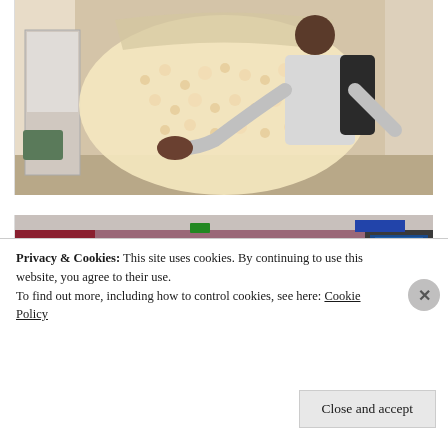[Figure (photo): A man wearing a white hoodie and black backpack hugging an enormous clear bag filled with popcorn, standing in what appears to be a store or cinema concession area.]
[Figure (photo): Interior of a cinema concession stand with pink/maroon walls, people in line, large yellow popcorn buckets or containers visible, and display screens in the background.]
Privacy & Cookies: This site uses cookies. By continuing to use this website, you agree to their use.
To find out more, including how to control cookies, see here: Cookie Policy
Close and accept